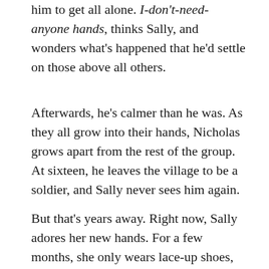him to get all alone. I-don't-need-anyone hands, thinks Sally, and wonders what's happened that he'd settle on those above all others.
Afterwards, he's calmer than he was. As they all grow into their hands, Nicholas grows apart from the rest of the group. At sixteen, he leaves the village to be a soldier, and Sally never sees him again.
But that's years away. Right now, Sally adores her new hands. For a few months, she only wears lace-up shoes, and she ties them in seven different knots, one for every day of the week. She learns how to use chopsticks. She